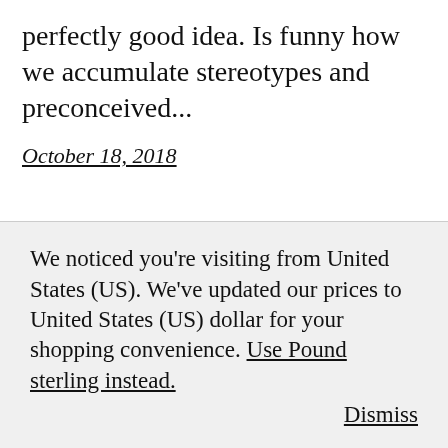perfectly good idea. Is funny how we accumulate stereotypes and preconceived...
October 18, 2018
We noticed you're visiting from United States (US). We've updated our prices to United States (US) dollar for your shopping convenience. Use Pound sterling instead. Dismiss